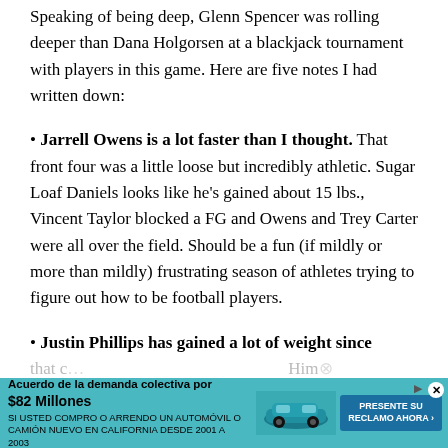Speaking of being deep, Glenn Spencer was rolling deeper than Dana Holgorsen at a blackjack tournament with players in this game. Here are five notes I had written down:
Jarrell Owens is a lot faster than I thought. That front four was a little loose but incredibly athletic. Sugar Loaf Daniels looks like he’s gained about 15 lbs., Vincent Taylor blocked a FG and Owens and Trey Carter were all over the field. Should be a fun (if mildly or more than mildly) frustrating season of athletes trying to figure out how to be football players.
Justin Phillips has gained a lot of weight since that… Him and G… oone
[Figure (infographic): Advertisement banner: Acuerdo de la demanda colectiva por $82 Millones. SI USTED COMPRO O ARRENDO UN AUTOMOVIL O CAMION NUEVO EN CALIFORNIA DESDE 2001 A 2003. PRESENTE SU RECLAMO AHORA button with car image.]